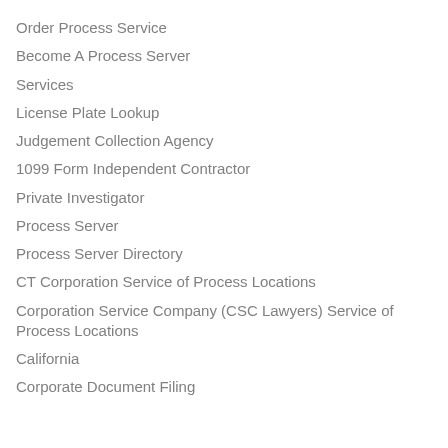Order Process Service
Become A Process Server
Services
License Plate Lookup
Judgement Collection Agency
1099 Form Independent Contractor
Private Investigator
Process Server
Process Server Directory
CT Corporation Service of Process Locations
Corporation Service Company (CSC Lawyers) Service of Process Locations
California
Corporate Document Filing